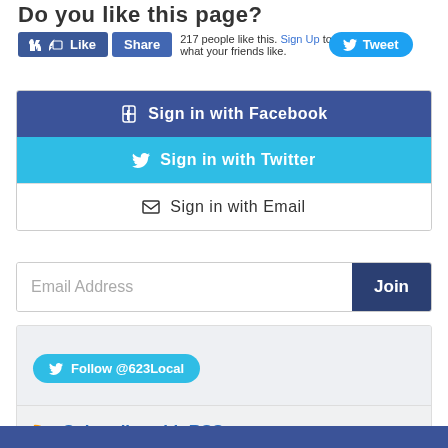Do you like this page?
[Figure (screenshot): Facebook Like and Share buttons with '217 people like this. Sign Up to see what your friends like.' and a Tweet button]
[Figure (screenshot): Sign in with Facebook button (dark blue), Sign in with Twitter button (cyan blue), Sign in with Email button (white)]
[Figure (screenshot): Email Address input field with Join button]
[Figure (screenshot): Twitter widget box with Follow @623Local button, and Subscribe with RSS section below]